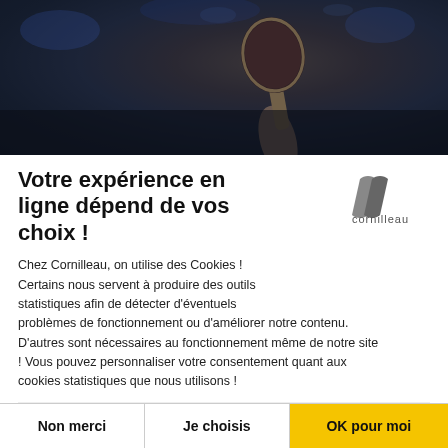[Figure (photo): Table tennis player holding a racket raised up against a dark blurred arena background]
Votre expérience en ligne dépend de vos choix !
[Figure (logo): Cornilleau logo - stylized double-slash icon with 'cornilleau' wordmark in gray]
Chez Cornilleau, on utilise des Cookies ! Certains nous servent à produire des outils statistiques afin de détecter d'éventuels problèmes de fonctionnement ou d'améliorer notre contenu. D'autres sont nécessaires au fonctionnement même de notre site ! Vous pouvez personnaliser votre consentement quant aux cookies statistiques que nous utilisons !
Consentements certifiés par ✔ axeptio
Non merci
Je choisis
OK pour moi